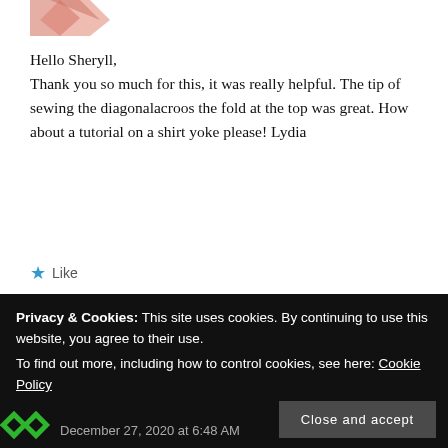[Figure (logo): Partial logo — pink/salmon colored angular shape at top left]
Hello Sheryll,
Thank you so much for this, it was really helpful. The tip of sewing the diagonalacroos the fold at the top was great. How about a tutorial on a shirt yoke please! Lydia
★ Like
REPLY
Pingback: Weihnachtskleid Sew-Along 2019: Finale –
Privacy & Cookies: This site uses cookies. By continuing to use this website, you agree to their use.
To find out more, including how to control cookies, see here: Cookie Policy
Close and accept
[Figure (logo): Green diamond pattern logo at bottom left]
December 27, 2020 at 6:48 AM